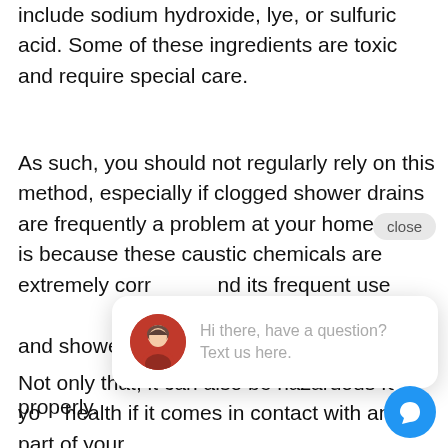include sodium hydroxide, lye, or sulfuric acid. Some of these ingredients are toxic and require special care.
As such, you should not regularly rely on this method, especially if clogged shower drains are frequently a problem at your home. This is because these caustic chemicals are extremely corrosive and its frequent use and shower fittings properly.
[Figure (screenshot): Chat popup widget with close button. Shows a female avatar and text: 'Hi there, have a question? Text us here.' with a blue chat bubble icon.]
Not only that, it can also be hazardous for your health if it comes in contact with any part of your